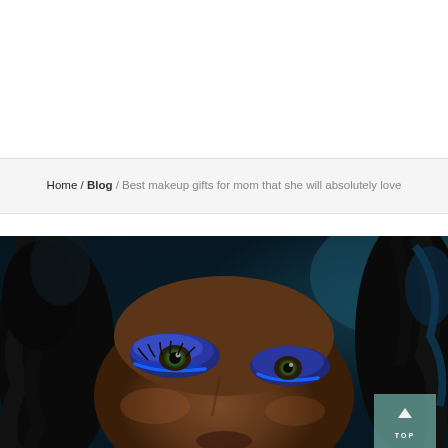Home / Blog / Best makeup gifts for mom that she will absolutely love
[Figure (photo): Close-up portrait of a dark-skinned woman with bold blue eye makeup/eyeshadow, curly dark hair, looking toward camera. Blue and teal tones in the background. A semi-transparent teal 'TOP' button overlay is visible in the lower right corner.]